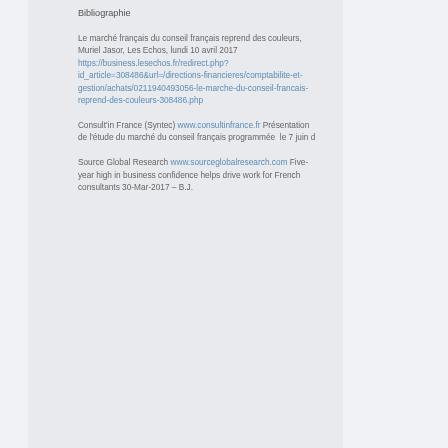Bibliographie
Le marché français du conseil français reprend des couleurs, Muriel Jasor, Les Echos, lundi 10 avril 2017 https://business.lesechos.fr/redirect.php?id_article=308486&url=/directions-financieres/comptabilite-et-gestion/achats/0211940493056-le-marche-du-conseil-francais-reprend-des-couleurs-308486.php
Consult'in France (Syntec) www.consultinfrance.fr Présentation de l'étude du marché du conseil français programmée  le 7 juin d
Source Global Research www.sourceglobalresearch.com Five-year high in business confidence helps drive work for French consultants 30-Mar-2017 – B.J.